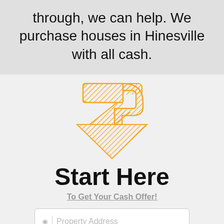through, we can help. We purchase houses in Hinesville with all cash.
[Figure (logo): Orange hatched arrow logo pointing downward with a zigzag/checkmark shape, drawn with diagonal line fill pattern in orange color]
Start Here
To Get Your Cash Offer!
Property Address